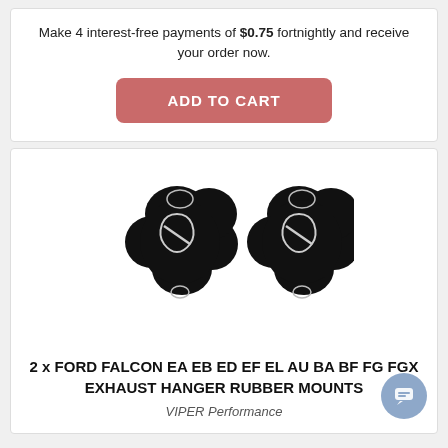Make 4 interest-free payments of $0.75 fortnightly and receive your order now.
[Figure (other): ADD TO CART button (pink/salmon rounded rectangle)]
[Figure (photo): Two black rubber exhaust hanger mounts shown side by side]
2 x FORD FALCON EA EB ED EF EL AU BA BF FG FGX EXHAUST HANGER RUBBER MOUNTS
VIPER Performance